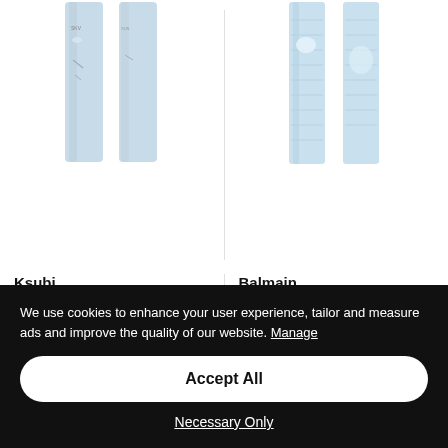[Figure (photo): Two skinny jeans (Ksubi Van Winkle Fire Patch Punk Blu) shown front and back on white background]
[Figure (photo): Two skinny-cut jeans (Balmain ribbed skinny-cut) shown front and back on white background]
Ksubi
Van Winkle Fire Patch Punk Blu skinny jeans
359 € -40% 215 €
Balmain
ribbed skinny-cut jeans
990 € -50% 495 €
We use cookies to enhance your user experience, tailor and measure ads and improve the quality of our website. Manage
Accept All
Necessary Only